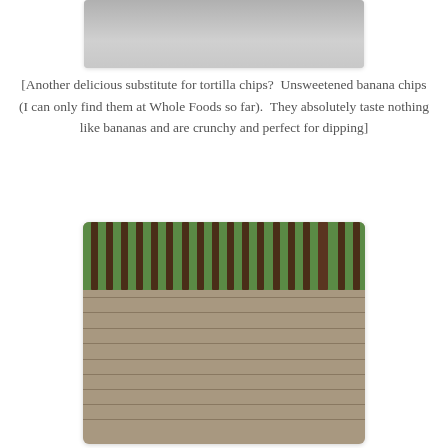[Figure (photo): Partial top photo, cropped at the top of the page, showing a blurry gray/white background, appears to be food or indoor scene.]
[Another delicious substitute for tortilla chips?  Unsweetened banana chips (I can only find them at Whole Foods so far).  They absolutely taste nothing like bananas and are crunchy and perfect for dipping]
[Figure (photo): Photo of a wooden outdoor deck with horizontal planks in weathered gray-brown tones, with dark brown vertical railing spindles visible at the top and green foliage visible beyond the railing.]